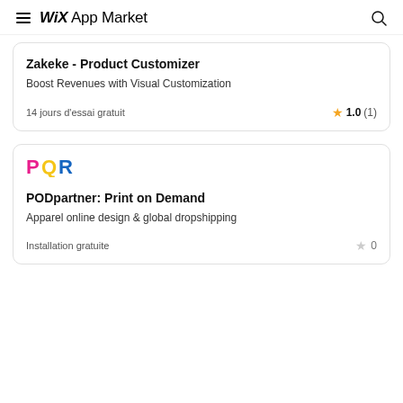Wix App Market
Zakeke - Product Customizer
Boost Revenues with Visual Customization
14 jours d'essai gratuit
1.0 (1)
[Figure (logo): PODpartner colorful logo with letters P, Q, R in pink, yellow, blue]
PODpartner: Print on Demand
Apparel online design & global dropshipping
Installation gratuite
0